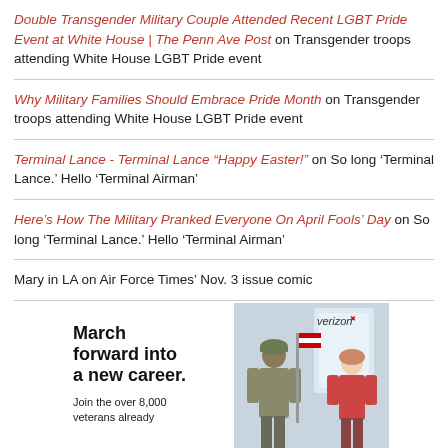Double Transgender Military Couple Attended Recent LGBT Pride Event at White House | The Penn Ave Post on Transgender troops attending White House LGBT Pride event
Why Military Families Should Embrace Pride Month on Transgender troops attending White House LGBT Pride event
Terminal Lance - Terminal Lance “Happy Easter!” on So long ‘Terminal Lance.’ Hello ‘Terminal Airman’
Here’s How The Military Pranked Everyone On April Fools’ Day on So long ‘Terminal Lance.’ Hello ‘Terminal Airman’
Mary in LA on Air Force Times’ Nov. 3 issue comic
[Figure (infographic): Verizon advertisement showing text 'March forward into a new career.' and 'Join the over 8,000 veterans already' with an image of a soldier and a woman, and the Verizon logo.]